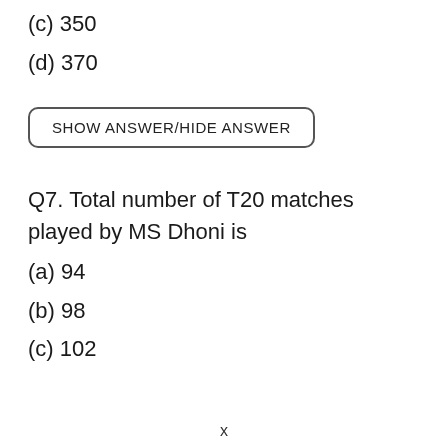(c) 350
(d) 370
SHOW ANSWER/HIDE ANSWER
Q7. Total number of T20 matches played by MS Dhoni is
(a) 94
(b) 98
(c) 102
x